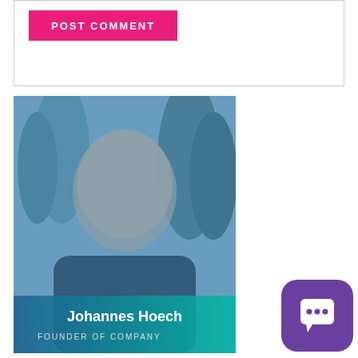[Figure (other): POST COMMENT button (pink/magenta) inside a bordered white box section]
[Figure (photo): Blue-tinted portrait photo of Johannes Hoech, a middle-aged man with glasses and a bald head, smiling, wearing a dark jacket, with a snowy forest background. Overlay text at bottom reads 'Johannes Hoech' and 'FOUNDER OF COMPANY'. Bottom right corner shows a purple rounded-square chat icon.]